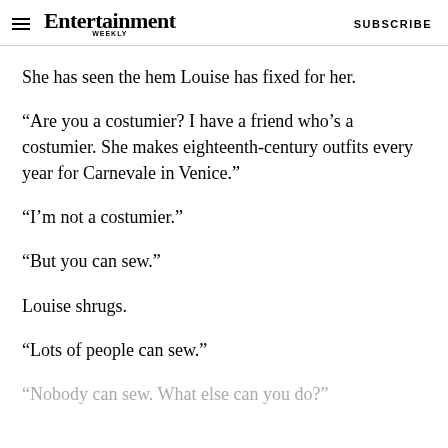Entertainment Weekly  SUBSCRIBE
She has seen the hem Louise has fixed for her.
“Are you a costumier? I have a friend who’s a costumier. She makes eighteenth-century outfits every year for Carnevale in Venice.”
“I’m not a costumier.”
“But you can sew.”
Louise shrugs.
“Lots of people can sew.”
“Nobody can sew. What else can you do?”